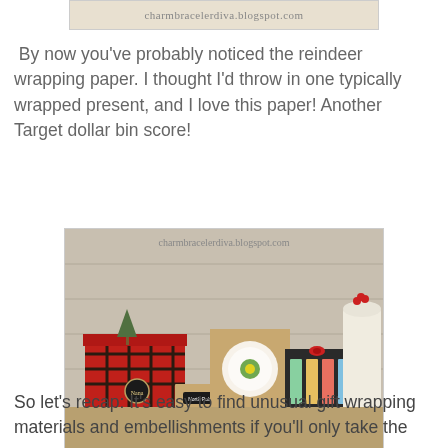[Figure (photo): Partial top image showing charmbracelerdiva.blogspot.com watermark on a light background]
By now you've probably noticed the reindeer wrapping paper. I thought I'd throw in one typically wrapped present, and I love this paper! Another Target dollar bin score!
[Figure (photo): Photo of several creatively wrapped Christmas gifts on a burlap surface against a whitewashed wood background. Gifts include: a large red plaid wrapped box with a chalkboard tag reading 'Nana', a small kraft paper box with a North Pole arrow tag, a medium kraft paper box with a white doily and green snowflake embellishment, a colorful box with reindeer wrapping paper and red bow, and a white bag with red berry tie. Watermark: charmbracelerdiva.blogspot.com]
So let's recap: It's easy to find unusual gift wrapping materials and embellishments if you'll only take the